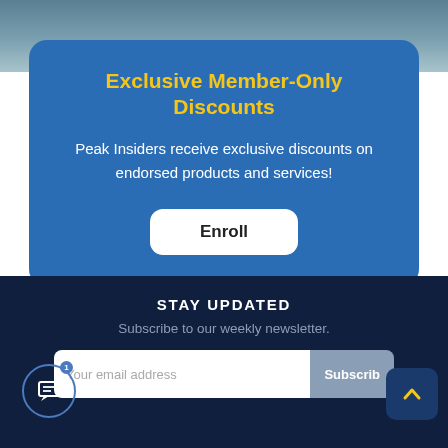[Figure (photo): Partial photo visible at top, teal/blue-gray gradient sky or surface]
Exclusive Member-Only Discounts
Peak Insiders receive exclusive discounts on endorsed products and services!
Enroll
STAY UPDATED
Subscribe to our weekly newsletter.
Your email address
Subscribe